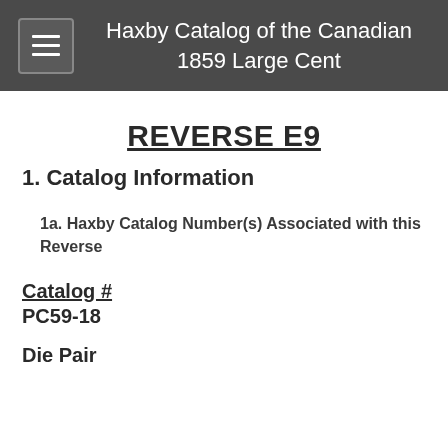Haxby Catalog of the Canadian 1859 Large Cent
REVERSE E9
1. Catalog Information
1a. Haxby Catalog Number(s) Associated with this Reverse
Catalog #
PC59-18
Die Pair